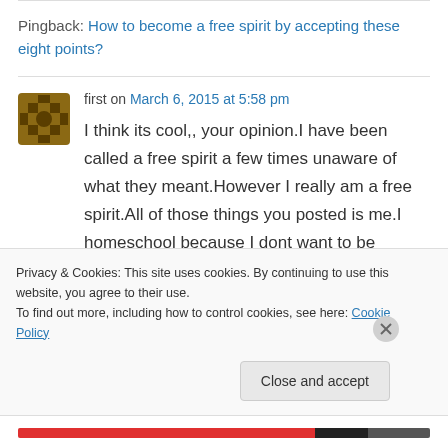Pingback: How to become a free spirit by accepting these eight points?
first on March 6, 2015 at 5:58 pm
I think its cool,, your opinion.I have been called a free spirit a few times unaware of what they meant.However I really am a free spirit.All of those things you posted is me.I homeschool because I dont want to be pinned down by the
Privacy & Cookies: This site uses cookies. By continuing to use this website, you agree to their use.
To find out more, including how to control cookies, see here: Cookie Policy
Close and accept